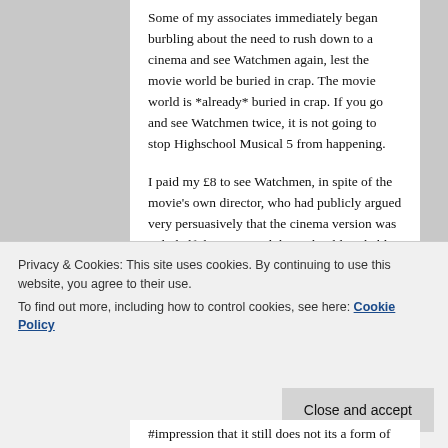Some of my associates immediately began burbling about the need to rush down to a cinema and see Watchmen again, lest the movie world be buried in crap. The movie world is *already* buried in crap. If you go and see Watchmen twice, it is not going to stop Highschool Musical 5 from happening.
I paid my £8 to see Watchmen, in spite of the movie's own director, who had publicly argued very persuasively that the cinema version was only half the story, and that I should probably go and buy the DVD if I wanted to see the whole thing. As far as I was concerned, I was *already*
Privacy & Cookies: This site uses cookies. By continuing to use this website, you agree to their use.
To find out more, including how to control cookies, see here: Cookie Policy
Close and accept
#impression that it still does not its a form of